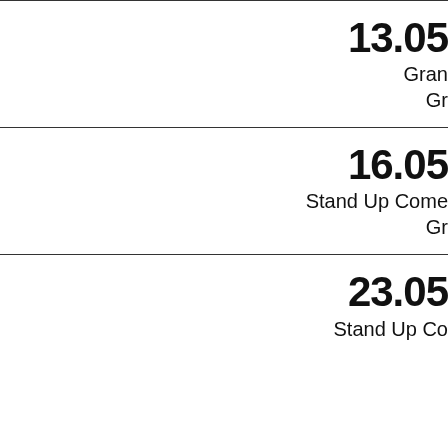13.05
Gran
Gr
16.05
Stand Up Come
Gr
23.05
Stand Up Co